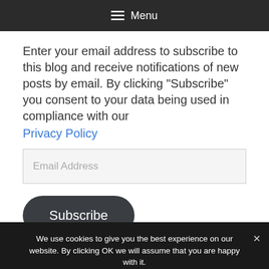≡ Menu
Enter your email address to subscribe to this blog and receive notifications of new posts by email. By clicking "Subscribe" you consent to your data being used in compliance with our Privacy Policy
Email Address
Subscribe
We use cookies to give you the best experience on our website. By clicking OK we will assume that you are happy with it.
OK
Privacy Policy